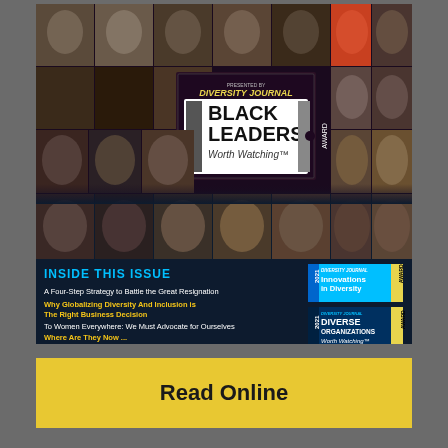[Figure (illustration): Diversity Journal 2021 Black Leaders Worth Watching Award magazine cover showing a grid of professional headshots surrounding a central award badge, with an 'Inside This Issue' section listing article titles including 'A Four-Step Strategy to Battle the Great Resignation', 'Why Globalizing Diversity And Inclusion is The Right Business Decision', 'To Women Everywhere: We Must Advocate for Ourselves', 'Where Are They Now...', and sidebar badges for Innovations in Diversity and Diverse Organizations Worth Watching awards. Bottom text reads 'Next issue: 2022 Latino Leaders Worth Watching & Diversity Leader Awards'.]
Read Online